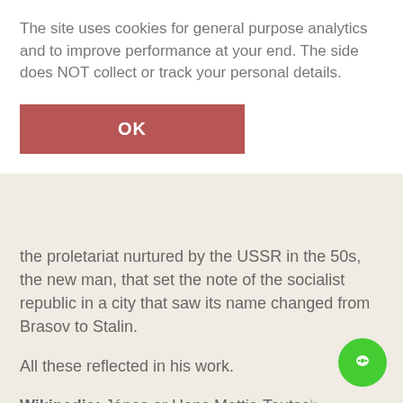The site uses cookies for general purpose analytics and to improve performance at your end. The side does NOT collect or track your personal details.
OK
the proletariat nurtured by the USSR in the 50s, the new man, that set the note of the socialist republic in a city that saw its name changed from Brasov to Stalin.
All these reflected in his work.
Wikipedia: János or Hans Mattis-Teutsch was a Hungarian painter, sculptor, graphic